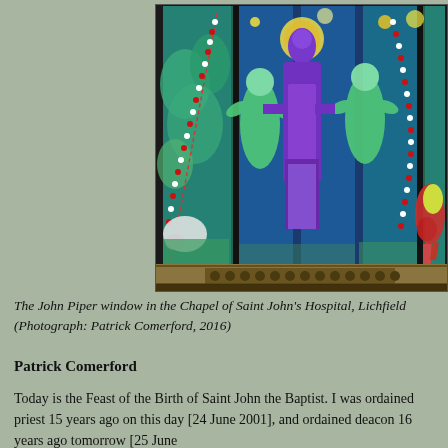[Figure (photo): A stained glass window by John Piper in the Chapel of Saint John's Hospital, Lichfield. The window features a central tall figure robed in purple with a halo, flanked by green angular figures against a blue background, with beaded red diagonal lines crossing the panels.]
The John Piper window in the Chapel of Saint John's Hospital, Lichfield (Photograph: Patrick Comerford, 2016)
Patrick Comerford
Today is the Feast of the Birth of Saint John the Baptist. I was ordained priest 15 years ago on this day [24 June 2001], and ordained deacon 16 years ago tomorrow [25 June